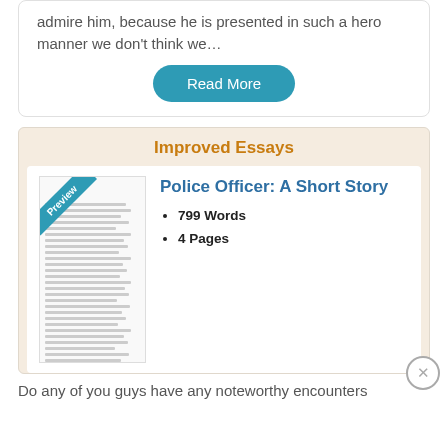admire him, because he is presented in such a hero manner we don't think we…
Read More
Improved Essays
Police Officer: A Short Story
799 Words
4 Pages
Do any of you guys have any noteworthy encounters